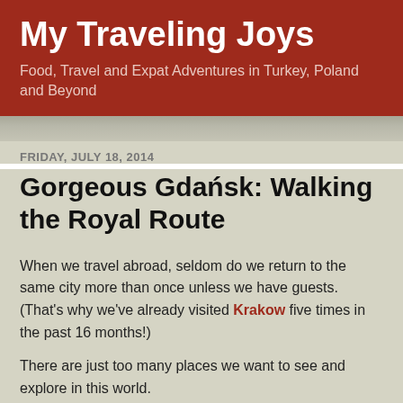My Traveling Joys
Food, Travel and Expat Adventures in Turkey, Poland and Beyond
FRIDAY, JULY 18, 2014
Gorgeous Gdańsk: Walking the Royal Route
When we travel abroad, seldom do we return to the same city more than once unless we have guests. (That's why we've already visited Krakow five times in the past 16 months!)
There are just too many places we want to see and explore in this world.
However, with the August 15th holiday weekend in Poland we'll...